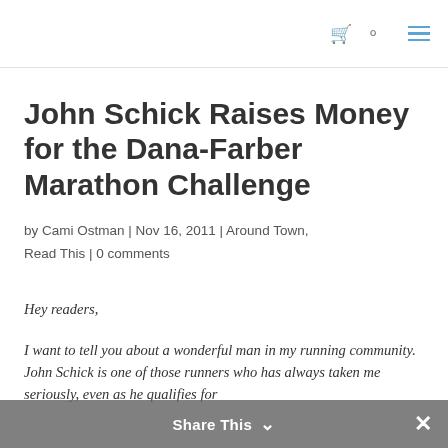[cart icon] [search icon] [menu icon]
John Schick Raises Money for the Dana-Farber Marathon Challenge
by Cami Ostman | Nov 16, 2011 | Around Town, Read This | 0 comments
Hey readers,
I want to tell you about a wonderful man in my running community. John Schick is one of those runners who has always taken me seriously, even as he qualifies for
Share This